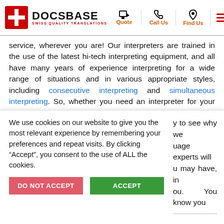DOCSBASE | SWISS QUALITY TRANSLATIONS | Quote | Call Us | Find Us
service, wherever you are! Our interpreters are trained in the use of the latest hi-tech interpreting equipment, and all have many years of experience interpreting for a wide range of situations and in various appropriate styles, including consecutive interpreting and simultaneous interpreting. So, whether you need an interpreter for your business gathering, conference or for a social occasion, you know we are the best choice for all you Croatian interpreting needs.
The best choice for all your Croatian translation and Croatian
We use cookies on our website to give you the most relevant experience by remembering your preferences and repeat visits. By clicking “Accept”, you consent to the use of ALL the cookies.
y to see why we uage experts will u may have, in ou. You know you